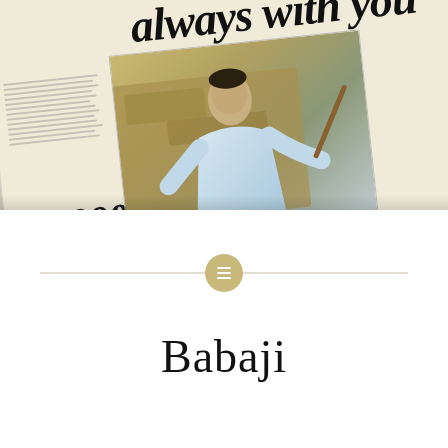[Figure (photo): A photograph of a newspaper spread on a table. The newspaper headline reads 'always with you' in large italic bold text. There is a photo in the newspaper showing a person in light blue clothing holding a stick, standing against a rocky background. The number 20,000 is visible on the left side. On the right side of the newspaper are columns with 'Photo' and 'Latest News' headings.]
Babaji